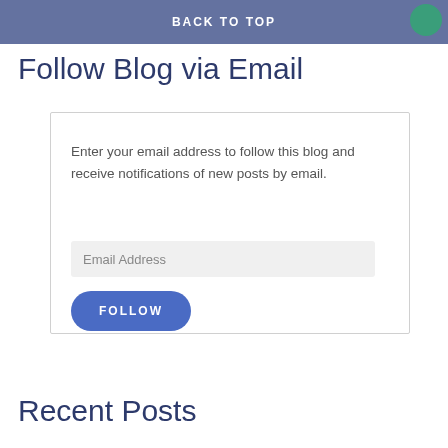BACK TO TOP
Follow Blog via Email
Enter your email address to follow this blog and receive notifications of new posts by email.
Email Address
FOLLOW
Recent Posts